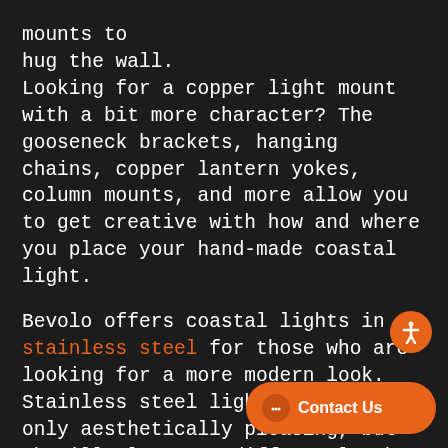mounts to hug the wall. Looking for a copper light mount with a bit more character? The gooseneck brackets, hanging chains, copper lantern yokes, column mounts, and more allow you to get creative with how and where you place your hand-made coastal light.

Bevolo offers coastal lights in stainless steel for those who are looking for a more modern look. Stainless steel lights are not only aesthetically pleasing, but they'll also wear differently than copper lights. The inherently tough qualities of stainless steel coastal lights, such as their ease of cleaning and practically zero maintenance, lends them well to applications outdoors and as modern industrial lights. Enjoy the benefits of stainless steel lanterns [obscured] the Bevolo DNA as their copper coun[obscured]